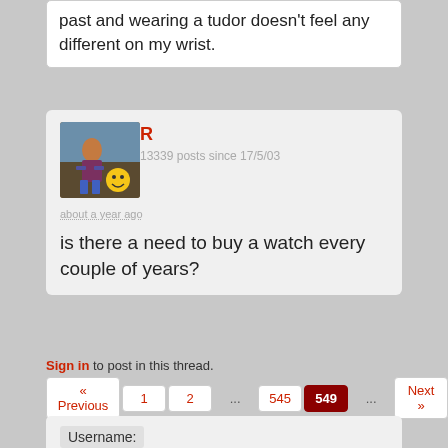past and wearing a tudor doesn't feel any different on my wrist.
R
13339 posts since 17/5/03
[Figure (photo): User avatar showing a person in street scene, and a smiley emoji badge]
about a year ago
is there a need to buy a watch every couple of years?
Sign in to post in this thread.
« Previous  1  2  ...  545  549  ...  Next »
Username:
Password: